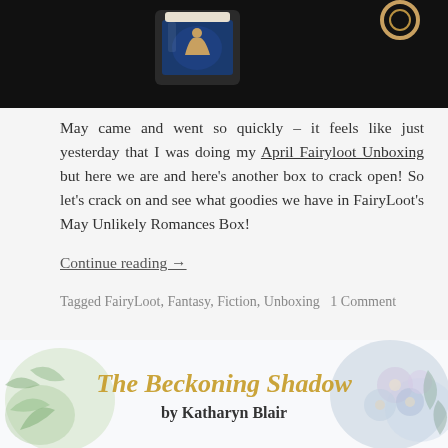[Figure (photo): Top portion of a product photo on black background showing a jar/candle with illustrated label]
May came and went so quickly – it feels like just yesterday that I was doing my April Fairyloot Unboxing but here we are and here's another box to crack open! So let's crack on and see what goodies we have in FairyLoot's May Unlikely Romances Box!
Continue reading →
Tagged FairyLoot, Fantasy, Fiction, Unboxing   1 Comment
[Figure (illustration): Book cover banner for 'The Beckoning Shadow by Katharyn Blair' with floral watercolor decorations in blue/purple tones and gold script title text]